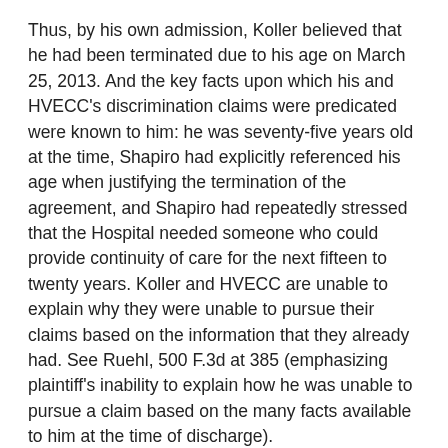Thus, by his own admission, Koller believed that he had been terminated due to his age on March 25, 2013. And the key facts upon which his and HVECC's discrimination claims were predicated were known to him: he was seventy-five years old at the time, Shapiro had explicitly referenced his age when justifying the termination of the agreement, and Shapiro had repeatedly stressed that the Hospital needed someone who could provide continuity of care for the next fifteen to twenty years. Koller and HVECC are unable to explain why they were unable to pursue their claims based on the information that they already had. See Ruehl, 500 F.3d at 385 (emphasizing plaintiff's inability to explain how he was unable to pursue a claim based on the many facts available to him at the time of discharge).
This case is therefore distinguishable from Oshiver, where we held that the plaintiff might be entitled to equitable tolling because of the defendants' deception. 38 F.3d at